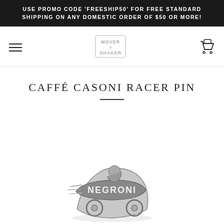USE PROMO CODE 'FREESHIP50' FOR FREE STANDARD SHIPPING ON ANY DOMESTIC ORDER OF $50 OR MORE!
[Figure (logo): Mover & Shaker brand logo in gray]
CAFFÉ CASONI RACER PIN
[Figure (photo): Partially visible Caffé Casoni Racer Pin product image showing a 'Negroni' themed pin in gray tones at the bottom of the page]